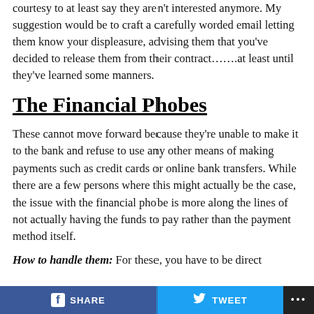courtesy to at least say they aren't interested anymore. My suggestion would be to craft a carefully worded email letting them know your displeasure, advising them that you've decided to release them from their contract…….at least until they've learned some manners.
The Financial Phobes
These cannot move forward because they're unable to make it to the bank and refuse to use any other means of making payments such as credit cards or online bank transfers. While there are a few persons where this might actually be the case, the issue with the financial phobe is more along the lines of not actually having the funds to pay rather than the payment method itself.
How to handle them: For these, you have to be direct
SHARE   TWEET   ...